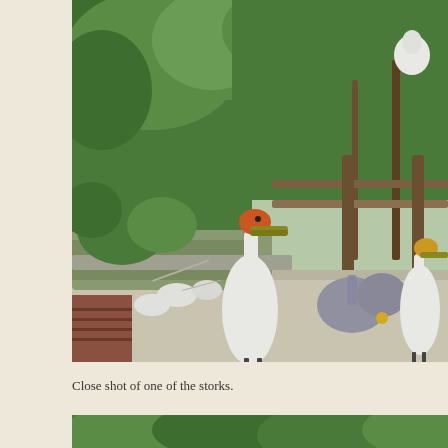[Figure (photo): A close shot of storks in what appears to be a zoo or wildlife park enclosure. A prominent yellow-billed stork stands in the foreground on a concrete surface, with several other white birds and grey herons visible in the background. Green trees and a wooden fence structure are visible behind the birds.]
Close shot of one of the storks.
[Figure (photo): Partial view of another photo below, showing green trees and foliage at the top of the frame.]